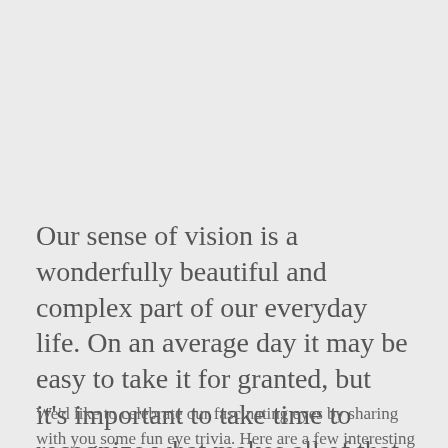Our sense of vision is a wonderfully beautiful and complex part of our everyday life. On an average day it may be easy to take it for granted, but it's important to take time to recognize what makes all of that beauty possible—our eyes!
We'd like to celebrate our fascinating eyes by sharing with you some fun eye trivia. Here are a few interesting